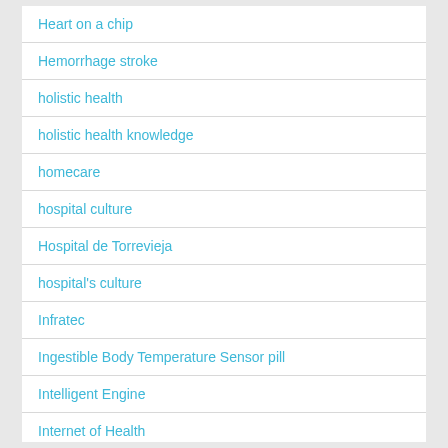Heart on a chip
Hemorrhage stroke
holistic health
holistic health knowledge
homecare
hospital culture
Hospital de Torrevieja
hospital's culture
Infratec
Ingestible Body Temperature Sensor pill
Intelligent Engine
Internet of Health